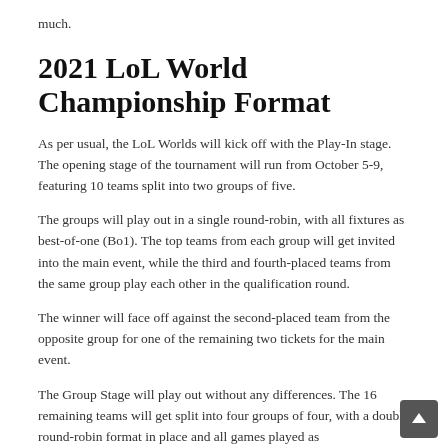much.
2021 LoL World Championship Format
As per usual, the LoL Worlds will kick off with the Play-In stage. The opening stage of the tournament will run from October 5-9, featuring 10 teams split into two groups of five.
The groups will play out in a single round-robin, with all fixtures as best-of-one (Bo1). The top teams from each group will get invited into the main event, while the third and fourth-placed teams from the same group play each other in the qualification round.
The winner will face off against the second-placed team from the opposite group for one of the remaining two tickets for the main event.
The Group Stage will play out without any differences. The 16 remaining teams will get split into four groups of four, with a double round-robin format in place and all games played as